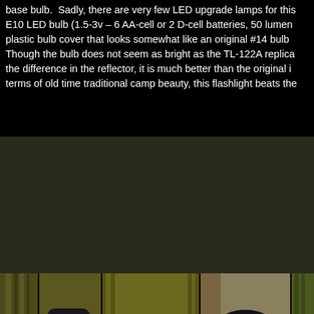base bulb.  Sadly, there are very few LED upgrade lamps for this E10 LED bulb (1.5-3v – 6 AA-cell or 2 D-cell batteries, 50 lumen plastic bulb cover that looks somewhat like an original #14 bulb Though the bulb does not seem as bright as the TL-122A replica the difference in the reflector, it is much better than the original i terms of old time traditional camp beauty, this flashlight beats the
[Figure (photo): Close-up photograph of several olive drab / mustard-colored vintage military flashlights arranged side by side, showing their bodies, switch mechanisms, and reflector/lens assemblies. One flashlight has a black round head visible on the right side.]